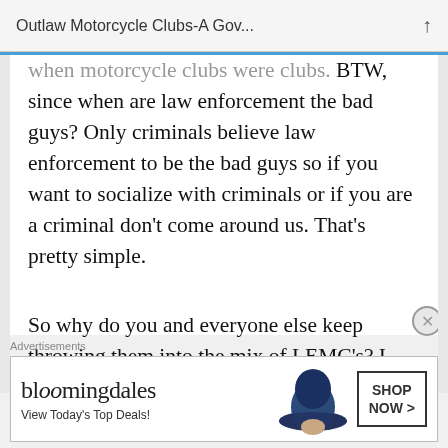Outlaw Motorcycle Clubs-A Gov...
when motorcycle clubs were clubs. BTW, since when are law enforcement the bad guys? Only criminals believe law enforcement to be the bad guys so if you want to socialize with criminals or if you are a criminal don't come around us. That's pretty simple.
So why do you and everyone else keep throwing them into the mix of LEMC's? I take great exception to bashing the
Advertisements
[Figure (other): Bloomingdale's advertisement banner with logo, hat image, and Shop Now button. Text reads: bloomingdales, View Today's Top Deals!, SHOP NOW >]